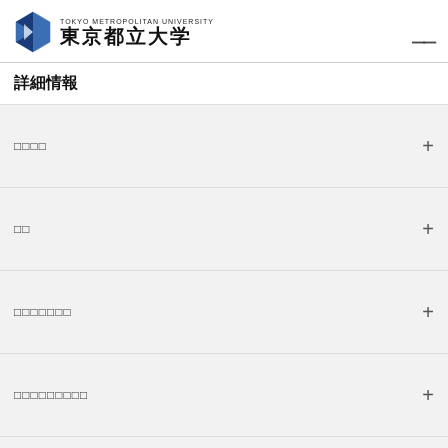TOKYO METROPOLITAN UNIVERSITY 東京都立大学
詳細情報
□□□□ +
□□ +
□□□□□□□ +
□□□□□□□□□ +
□□□□ +
□□□□ +